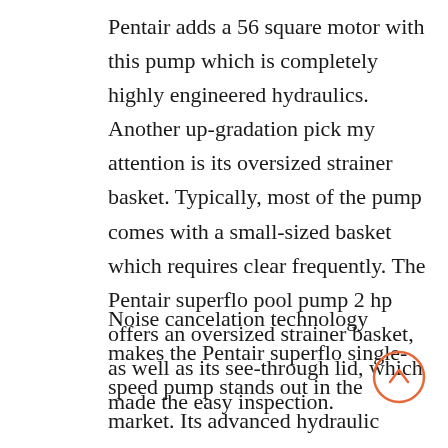Pentair adds a 56 square motor with this pump which is completely highly engineered hydraulics. Another up-gradation pick my attention is its oversized strainer basket. Typically, most of the pump comes with a small-sized basket which requires clear frequently. The Pentair superflo pool pump 2 hp offers an oversized strainer basket, as well as its see-through lid, which made the easy inspection.
Noise cancelation technology makes the Pentair superflo single-speed pump stands out in the market. Its advanced hydraulic engineering makes almost no noise, even if, you won't notice the pump is running from a few meters away. Besides, its self-priming